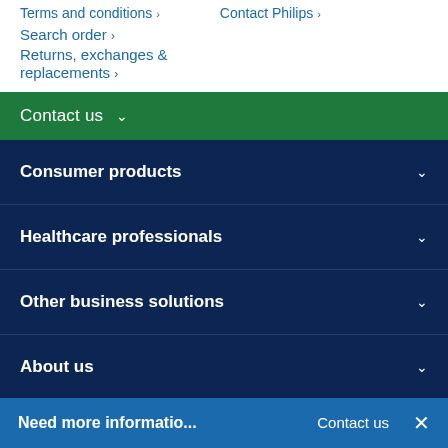Terms and conditions ›
Contact Philips ›
Search order ›
Returns, exchanges & replacements ›
Contact us ∨
Consumer products
Healthcare professionals
Other business solutions
About us
Need more informatio...
Contact us
×